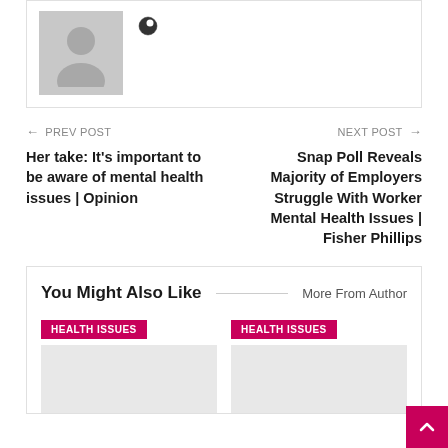[Figure (illustration): Gray avatar placeholder silhouette with a globe/location icon to the right]
← PREV POST
Her take: It's important to be aware of mental health issues | Opinion
NEXT POST →
Snap Poll Reveals Majority of Employers Struggle With Worker Mental Health Issues | Fisher Phillips
You Might Also Like
More From Author
[Figure (illustration): HEALTH ISSUES badge with gray image placeholder below]
[Figure (illustration): HEALTH ISSUES badge with gray image placeholder below]